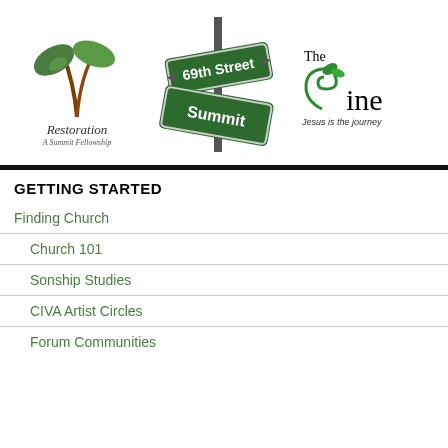[Figure (logo): Three logos side by side: Restoration A Summit Fellowship (plant/tree logo), 69th Street Summit (street sign logo), The Vine Jesus is the journey (vine logo)]
GETTING STARTED
Finding Church
Church 101
Sonship Studies
CIVA Artist Circles
Forum Communities